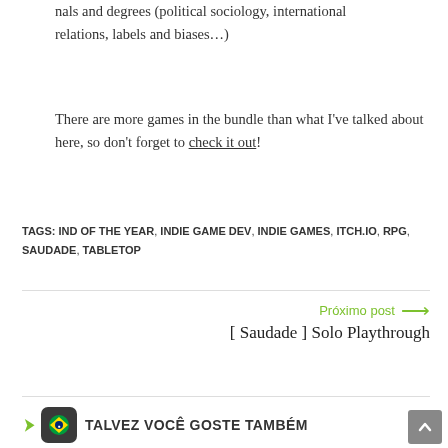nals and degrees (political sociology, international relations, labels and biases…)
There are more games in the bundle than what I've talked about here, so don't forget to check it out!
TAGS: IND OF THE YEAR, INDIE GAME DEV, INDIE GAMES, ITCH.IO, RPG, SAUDADE, TABLETOP
Próximo post → [ Saudade ] Solo Playthrough
TALVEZ VOCÊ GOSTE TAMBÉM